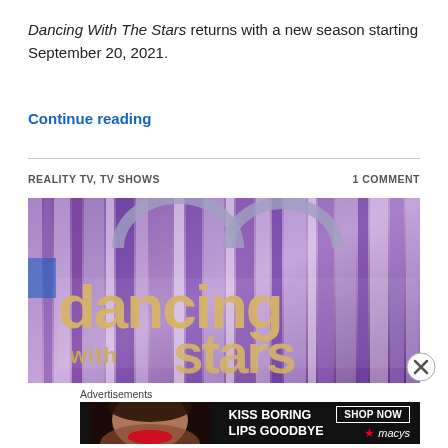Dancing With The Stars returns with a new season starting September 20, 2021.
Continue reading
REALITY TV, TV SHOWS · 1 COMMENT
[Figure (photo): Dancing With The Stars logo on a purple glittery/mirrored background showing 'dancing with stars' text in gold/silver stylized letters]
Advertisements
[Figure (screenshot): Macy's advertisement banner showing 'KISS BORING LIPS GOODBYE' text with a woman's face and red lips, with a 'SHOP NOW' button and Macy's star logo]